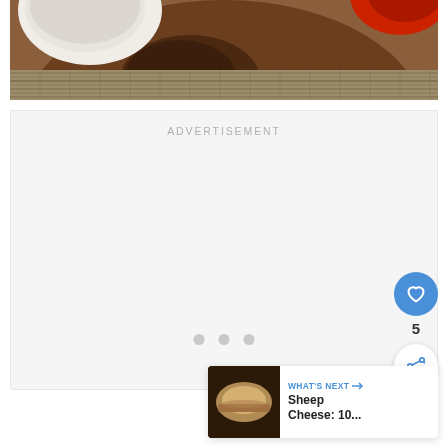[Figure (photo): Partial photo of cheese and charcuterie on a wooden board with a woven textile, cropped at the top of page]
ADVERTISEMENT
[Figure (other): Advertisement placeholder with three loading dots]
[Figure (other): Blue heart like button with count of 5 and share button]
[Figure (other): What's Next card: thumbnail of cheese with text 'WHAT'S NEXT → Sheep Cheese: 10...']